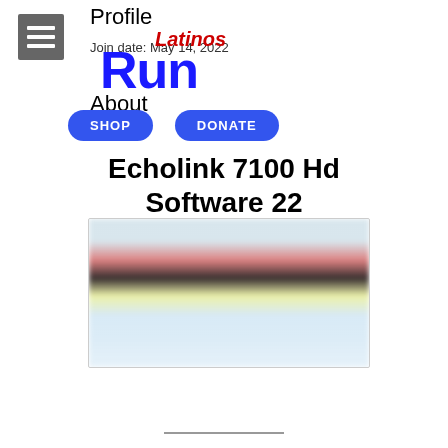Profile
Join date: May 14, 2022
[Figure (logo): Latinos Run logo with 'Latinos' in red italic and 'Run' in bold blue]
About
SHOP   DONATE
Echolink 7100 Hd Software 22
[Figure (screenshot): Blurred software interface screenshot with colored bands]
—